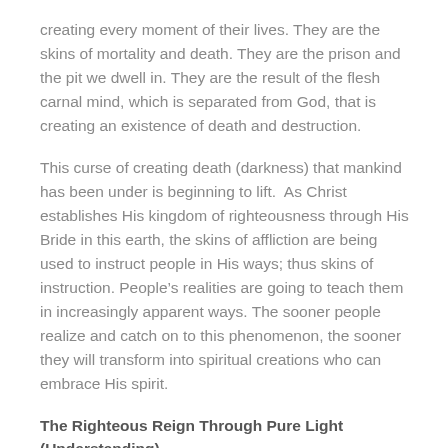creating every moment of their lives. They are the skins of mortality and death. They are the prison and the pit we dwell in. They are the result of the flesh carnal mind, which is separated from God, that is creating an existence of death and destruction.
This curse of creating death (darkness) that mankind has been under is beginning to lift.  As Christ establishes His kingdom of righteousness through His Bride in this earth, the skins of affliction are being used to instruct people in His ways; thus skins of instruction. People's realities are going to teach them in increasingly apparent ways. The sooner people realize and catch on to this phenomenon, the sooner they will transform into spiritual creations who can embrace His spirit.
The Righteous Reign Through Pure Light (Understanding)